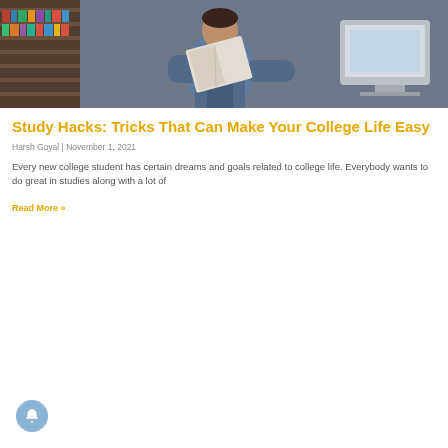[Figure (photo): Person in denim jacket reading a book in a library with bookshelves and a computer monitor in the background]
Study Hacks: Tricks That Can Make Your College Life Easy
Harsh Goyal | November 1, 2021
Every new college student has certain dreams and goals related to college life. Everybody wants to do great in studies along with a lot of
Read More »